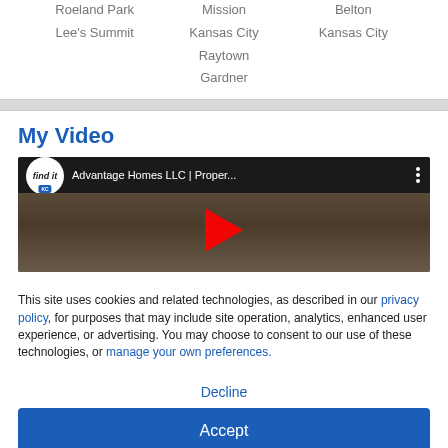Roeland Park
Lee's Summit
Raytown
Mission
Kansas City
Gardner
Belton
Kansas City
My Video
[Figure (screenshot): YouTube-style video thumbnail showing 'Advantage Homes LLC | Proper...' with Find It KC logo and red play button. Two people visible in the background.]
This site uses cookies and related technologies, as described in our privacy policy, for purposes that may include site operation, analytics, enhanced user experience, or advertising. You may choose to consent to our use of these technologies, or manage your own preferences.
Decline
Accept